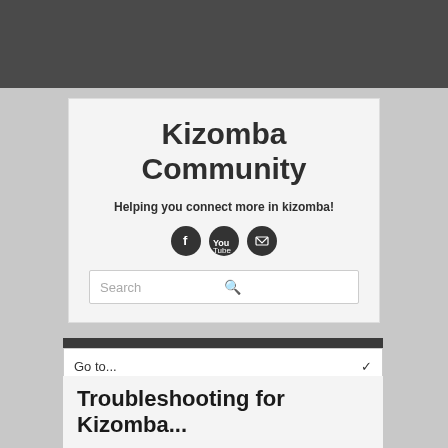Kizomba Community
Helping you connect more in kizomba!
[Figure (illustration): Three social media icons: Facebook, YouTube, and Email/envelope, each in a dark circular button]
Search
Go to...
Troubleshooting for Kizomba...